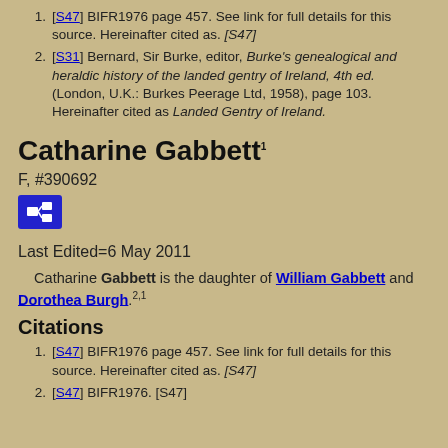[S47] BIFR1976 page 457. See link for full details for this source. Hereinafter cited as. [S47]
[S31] Bernard, Sir Burke, editor, Burke's genealogical and heraldic history of the landed gentry of Ireland, 4th ed. (London, U.K.: Burkes Peerage Ltd, 1958), page 103. Hereinafter cited as Landed Gentry of Ireland.
Catharine Gabbett
F, #390692
Last Edited=6 May 2011
Catharine Gabbett is the daughter of William Gabbett and Dorothea Burgh.
Citations
[S47] BIFR1976 page 457. See link for full details for this source. Hereinafter cited as. [S47]
[S47] BIFR1976. [S47]